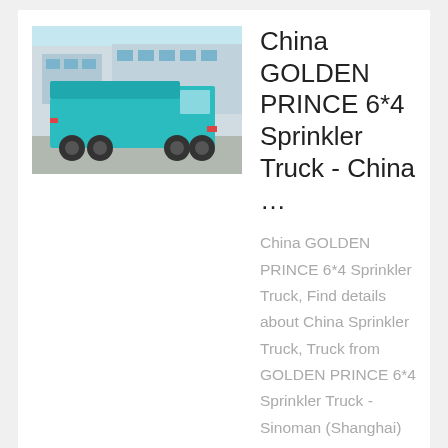[Figure (photo): Teal/blue dump truck parked in front of a building]
China GOLDEN PRINCE 6*4 Sprinkler Truck - China …
China GOLDEN PRINCE 6*4 Sprinkler Truck, Find details about China Sprinkler Truck, Truck from GOLDEN PRINCE 6*4 Sprinkler Truck - Sinoman (Shanghai) Truck Sales Co., Ltd.
[Figure (photo): Green dump truck with covered load bed]
Sinotruk Golden Prince 4*2